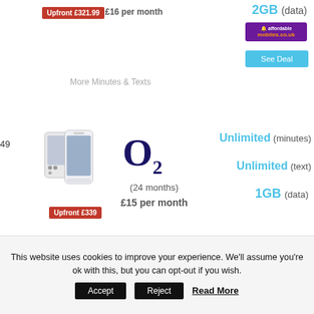Upfront £321.99
£16 per month
2GB (data)
[Figure (logo): affordable mobiles.co.uk logo — purple background with orange brand name]
See Deal
More Minutes & Texts
49
[Figure (photo): Samsung Galaxy S21 smartphone, white/silver color, front and back view]
Upfront £339
[Figure (logo): O2 network logo in dark navy blue]
(24 months)
£15 per month
Unlimited (minutes)
Unlimited (text)
1GB (data)
More Minutes & Texts
See Deal
This website uses cookies to improve your experience. We'll assume you're ok with this, but you can opt-out if you wish.
Accept
Reject
Read More